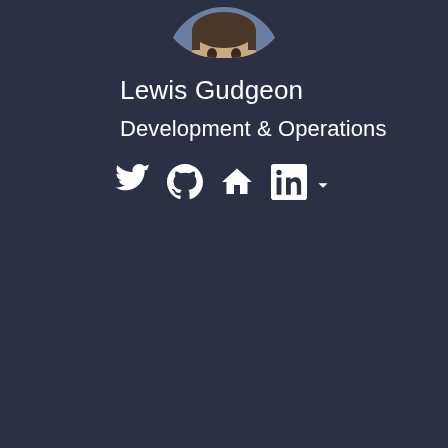[Figure (photo): Circular profile photo of Lewis Gudgeon, partially visible at top center, showing a person in a blue/light shirt, cropped at the chin]
Lewis Gudgeon
Development & Operations
[Figure (infographic): Row of social media icons: Twitter bird, GitHub octocat, Speakerdeck/house icon, LinkedIn square icon, followed by a dropdown arrow]